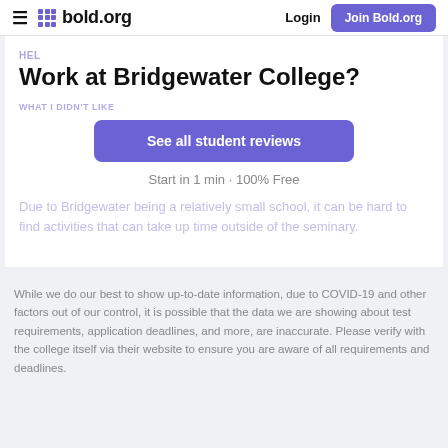bold.org | Login | Join Bold.org
Work at Bridgewater College?
See all student reviews
Start in 1 min · 100% Free
Due to Bridgewater being a relatively small school, it can be hard to find activities that can take up time outside of the seminary.
While we do our best to show up-to-date information, due to COVID-19 and other factors out of our control, it is possible that the data we are showing about test requirements, application deadlines, and more, are inaccurate. Please verify with the college itself via their website to ensure you are aware of all requirements and deadlines.